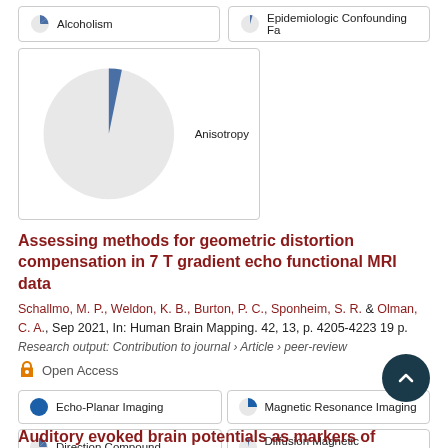Alcoholism
Epidemiologic Confounding Fa
Anisotropy
Assessing methods for geometric distortion compensation in 7 T gradient echo functional MRI data
Schallmo, M. P., Weldon, K. B., Burton, P. C., Sponheim, S. R. & Olman, C. A., Sep 2021, In: Human Brain Mapping. 42, 13, p. 4205-4223 19 p.
Research output: Contribution to journal › Article › peer-review
Open Access
Echo-Planar Imaging
Magnetic Resonance Imaging
Direction Compound
Diffusion Magnetic Resonance
Prefrontal Cortex
Auditory evoked brain potentials as markers of